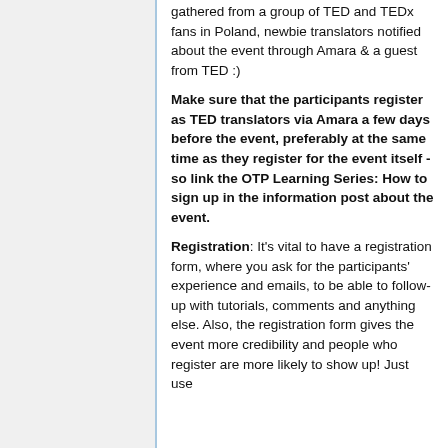gathered from a group of TED and TEDx fans in Poland, newbie translators notified about the event through Amara & a guest from TED :)
Make sure that the participants register as TED translators via Amara a few days before the event, preferably at the same time as they register for the event itself - so link the OTP Learning Series: How to sign up in the information post about the event.
Registration: It's vital to have a registration form, where you ask for the participants' experience and emails, to be able to follow-up with tutorials, comments and anything else. Also, the registration form gives the event more credibility and people who register are more likely to show up! Just use